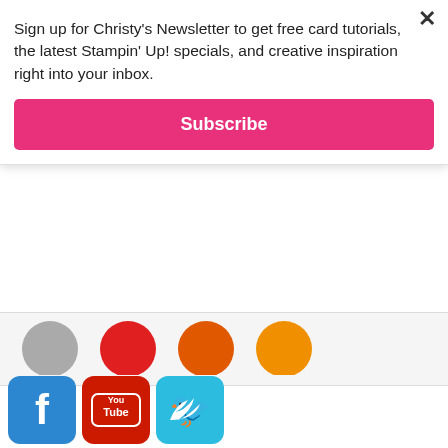Sign up for Christy's Newsletter to get free card tutorials, the latest Stampin' Up! specials, and creative inspiration right into your inbox.
Subscribe
[Figure (illustration): Partial row of social media icon circles (greyed, red, orange) partially visible]
[Figure (illustration): Row of three social media icons: Facebook (blue), YouTube (red), Twitter (blue)]
Subscribe to My Newsletter
Subscribe Now
Blog Posts